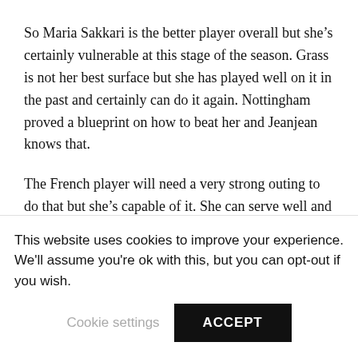So Maria Sakkari is the better player overall but she’s certainly vulnerable at this stage of the season. Grass is not her best surface but she has played well on it in the past and certainly can do it again. Nottingham proved a blueprint on how to beat her and Jeanjean knows that.
The French player will need a very strong outing to do that but she’s capable of it. She can serve well and she likes to attack and that can do the trick. I don’t think Sakkari will lose this match because I do think she’ll be a bit better this week than last week.
I can see Jeanjean keeping it close or actually win a set. So
This website uses cookies to improve your experience. We'll assume you're ok with this, but you can opt-out if you wish.